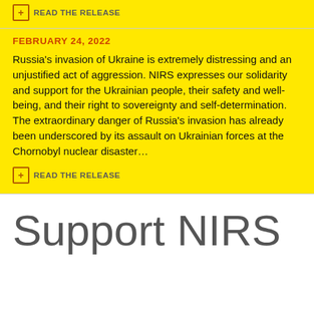READ THE RELEASE
FEBRUARY 24, 2022
Russia's invasion of Ukraine is extremely distressing and an unjustified act of aggression. NIRS expresses our solidarity and support for the Ukrainian people, their safety and well-being, and their right to sovereignty and self-determination. The extraordinary danger of Russia's invasion has already been underscored by its assault on Ukrainian forces at the Chornobyl nuclear disaster…
READ THE RELEASE
Support NIRS